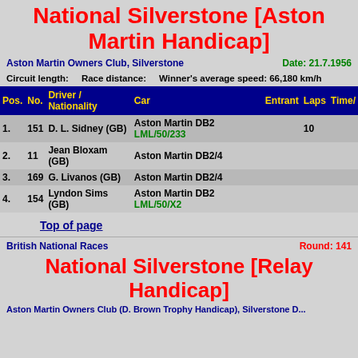National Silverstone [Aston Martin Handicap]
Aston Martin Owners Club, Silverstone    Date: 21.7.1956
Circuit length:    Race distance:    Winner's average speed: 66,180 km/h
| Pos. | No. | Driver / Nationality | Car | Entrant | Laps | Time/ |
| --- | --- | --- | --- | --- | --- | --- |
| 1. | 151 | D. L. Sidney (GB) | Aston Martin DB2 LML/50/233 |  | 10 |  |
| 2. | 11 | Jean Bloxam (GB) | Aston Martin DB2/4 |  |  |  |
| 3. | 169 | G. Livanos (GB) | Aston Martin DB2/4 |  |  |  |
| 4. | 154 | Lyndon Sims (GB) | Aston Martin DB2 LML/50/X2 |  |  |  |
Top of page
British National Races    Round: 141
National Silverstone [Relay Handicap]
Aston Martin Owners Club (D. Brown Trophy Handicap), Silverstone D...